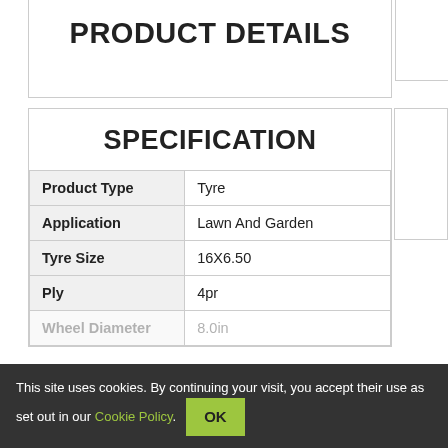PRODUCT DETAILS
SPECIFICATION
|  |  |
| --- | --- |
| Product Type | Tyre |
| Application | Lawn And Garden |
| Tyre Size | 16X6.50 |
| Ply | 4pr |
| Wheel Diameter | 8.0in |
This site uses cookies. By continuing your visit, you accept their use as set out in our Cookie Policy.